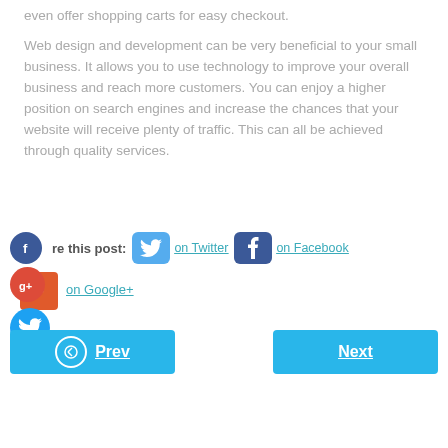even offer shopping carts for easy checkout.
Web design and development can be very beneficial to your small business. It allows you to use technology to improve your overall business and reach more customers. You can enjoy a higher position on search engines and increase the chances that your website will receive plenty of traffic. This can all be achieved through quality services.
Share this post:  on Twitter  on Facebook  on Google+
[Figure (other): Navigation buttons: Prev and Next in cyan/blue rounded rectangles]